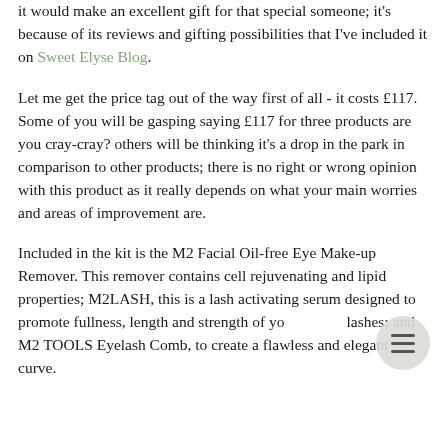it would make an excellent gift for that special someone; it's because of its reviews and gifting possibilities that I've included it on Sweet Elyse Blog.
Let me get the price tag out of the way first of all - it costs £117. Some of you will be gasping saying £117 for three products are you cray-cray? others will be thinking it's a drop in the park in comparison to other products; there is no right or wrong opinion with this product as it really depends on what your main worries and areas of improvement are.
Included in the kit is the M2 Facial Oil-free Eye Make-up Remover. This remover contains cell rejuvenating and lipid properties; M2LASH, this is a lash activating serum designed to promote fullness, length and strength of your lashes; and M2 TOOLS Eyelash Comb, to create a flawless and elegant curve.